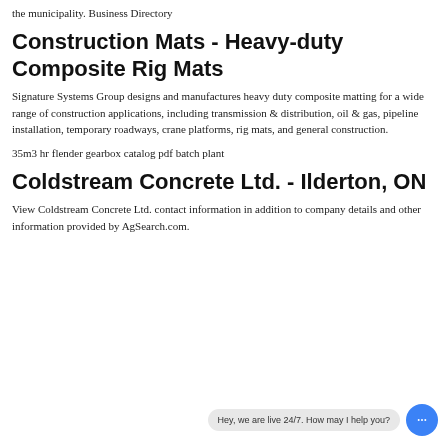the municipality. Business Directory
Construction Mats - Heavy-duty Composite Rig Mats
Signature Systems Group designs and manufactures heavy duty composite matting for a wide range of construction applications, including transmission & distribution, oil & gas, pipeline installation, temporary roadways, crane platforms, rig mats, and general construction.
35m3 hr flender gearbox catalog pdf batch plant
Coldstream Concrete Ltd. - Ilderton, ON
View Coldstream Concrete Ltd. contact information in addition to company details and other information provided by AgSearch.com.